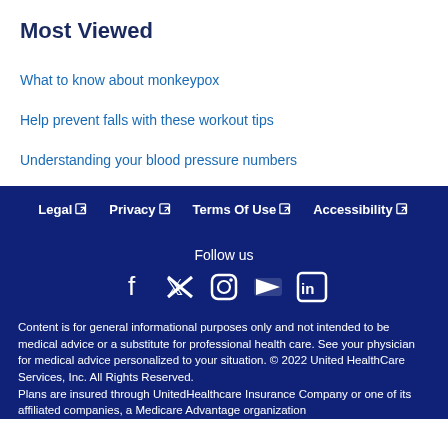Most Viewed
What to know about monkeypox
Help prevent falls with these workout tips
Understanding your blood pressure numbers
Legal  Privacy  Terms Of Use  Accessibility
Follow us
[Figure (infographic): Social media icons: Facebook, Twitter, Instagram, YouTube, LinkedIn]
Content is for general informational purposes only and not intended to be medical advice or a substitute for professional health care. See your physician for medical advice personalized to your situation. © 2022 United HealthCare Services, Inc. All Rights Reserved.
Plans are insured through UnitedHealthcare Insurance Company or one of its affiliated companies, a Medicare Advantage organization